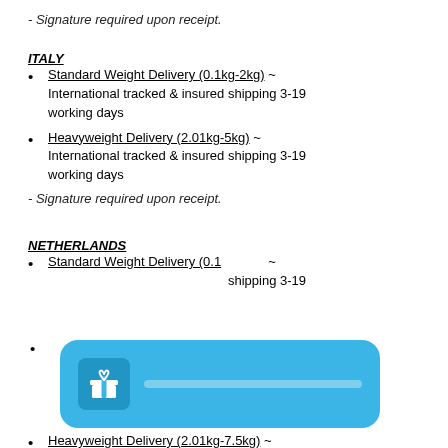- Signature required upon receipt.
ITALY
Standard Weight Delivery (0.1kg-2kg) ~ International tracked & insured shipping 3-19 working days
Heavyweight Delivery (2.01kg-5kg) ~ International tracked & insured shipping 3-19 working days
- Signature required upon receipt.
NETHERLANDS
Standard Weight Delivery (0.1kg-2kg) ~ International tracked & insured shipping 3-19
[Figure (other): Blue rounded rectangle widget with a gift/present icon on the left and a blurred/obscured text area to the right, overlaying part of the page content.]
Heavyweight Delivery (2.01kg-7.5kg) ~ International tracked & insured shipping 3-19